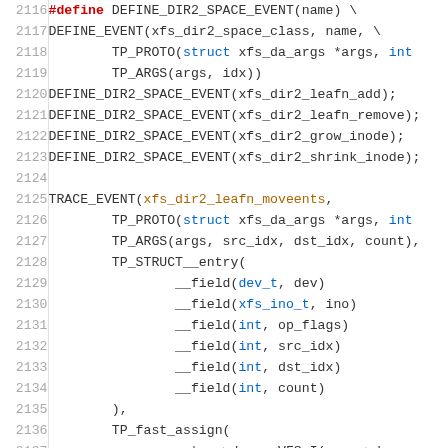[Figure (screenshot): Source code listing showing lines 2116–2137 of a Linux kernel XFS tracing header file, with syntax highlighting. Contains #define DEFINE_DIR2_SPACE_EVENT macro, several macro invocations, and a TRACE_EVENT definition with TP_PROTO, TP_ARGS, TP_STRUCT__entry with __field declarations, and TP_fast_assign.]